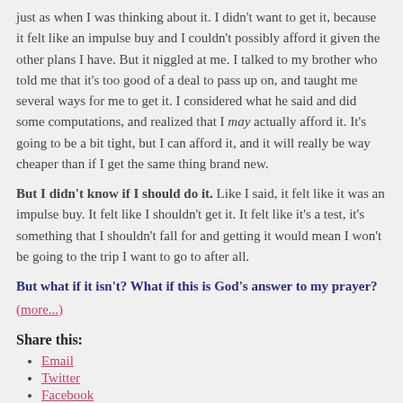just as when I was thinking about it. I didn't want to get it, because it felt like an impulse buy and I couldn't possibly afford it given the other plans I have. But it niggled at me. I talked to my brother who told me that it's too good of a deal to pass up on, and taught me several ways for me to get it. I considered what he said and did some computations, and realized that I may actually afford it. It's going to be a bit tight, but I can afford it, and it will really be way cheaper than if I get the same thing brand new.
But I didn't know if I should do it. Like I said, it felt like it was an impulse buy. It felt like I shouldn't get it. It felt like it's a test, it's something that I shouldn't fall for and getting it would mean I won't be going to the trip I want to go to after all.
But what if it isn't? What if this is God's answer to my prayer?
(more...)
Share this:
Email
Twitter
Facebook
Tumblr